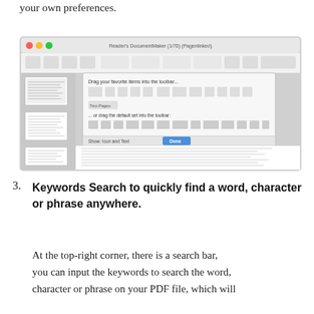your own preferences.
[Figure (screenshot): Screenshot of a PDF reader application showing the toolbar customization dialog with drag-and-drop toolbar icons, a document page with text visible in the background, and a blue 'Done' button at the bottom right.]
3. Keywords Search to quickly find a word, character or phrase anywhere.
At the top-right corner, there is a search bar, you can input the keywords to search the word, character or phrase on your PDF file, which will